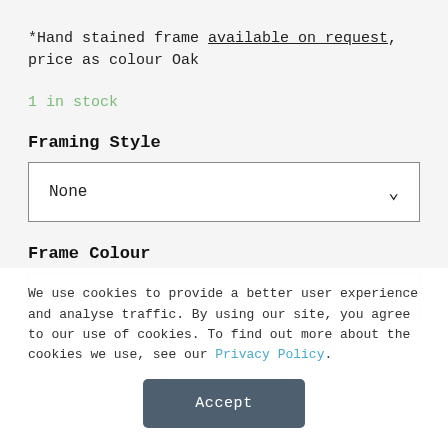*Hand stained frame available on request, price as colour Oak
1 in stock
Framing Style
None (dropdown)
Frame Colour
None (dropdown, partially visible)
We use cookies to provide a better user experience and analyse traffic. By using our site, you agree to our use of cookies. To find out more about the cookies we use, see our Privacy Policy.
Accept